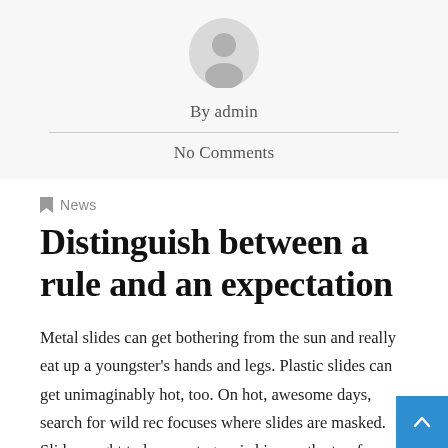[Figure (illustration): Gray circular avatar/profile placeholder icon]
By admin
No Comments
News
Distinguish between a rule and an expectation
Metal slides can get bothering from the sun and really eat up a youngster's hands and legs. Plastic slides can get unimaginably hot, too. On hot, awesome days, search for wild rec focuses where slides are masked. Slides ought to have a stage wi skips on the top for youngsters to hold. There